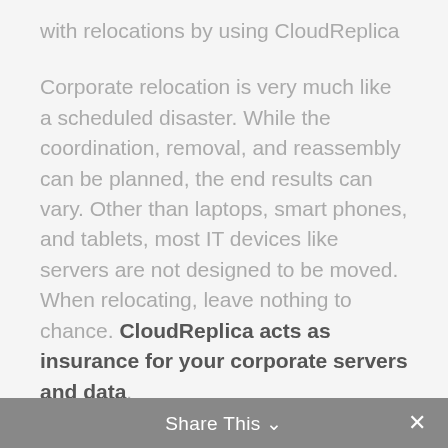with relocations by using CloudReplica
Corporate relocation is very much like a scheduled disaster. While the coordination, removal, and reassembly can be planned, the end results can vary. Other than laptops, smart phones, and tablets, most IT devices like servers are not designed to be moved. When relocating, leave nothing to chance. CloudReplica acts as insurance for your corporate servers and data.
CloudReplica can implement the service on any number of corporate servers and synchronize the entire contents to the cloud. Should an accident or delay occur during relocation, CloudReplica will run your
Share This ∨  ✕